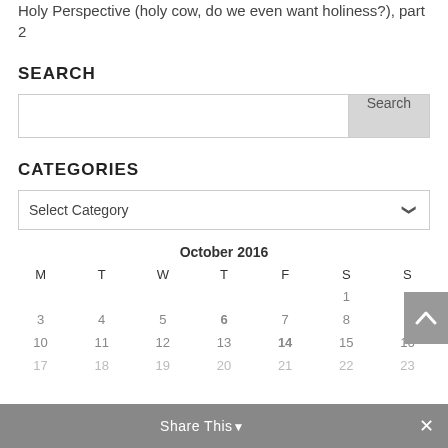Holy Perspective (holy cow, do we even want holiness?), part 2
SEARCH
[Search input with Search button]
CATEGORIES
Select Category
| M | T | W | T | F | S | S |
| --- | --- | --- | --- | --- | --- | --- |
|  |  |  |  |  | 1 | 2 |
| 3 | 4 | 5 | 6 | 7 | 8 | 9 |
| 10 | 11 | 12 | 13 | 14 | 15 | 16 |
| 17 | 18 | 19 | 20 | 21 | 22 | 23 |